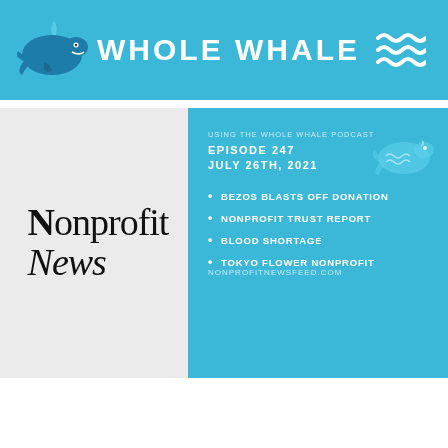WHOLE WHALE
[Figure (logo): Nonprofit News text logo with stylized N]
USING THE WHOLE WHALE PODCAST
EPISODE 247
JULY 26TH, 2021
BEZOS BLASTS OFF DONATION
NONPROFIT TRUST REPORT
BLOOD SHORTAGE
TOKYO FLOWER NONPROFIT
NONPROFITNEWSFEED.COM